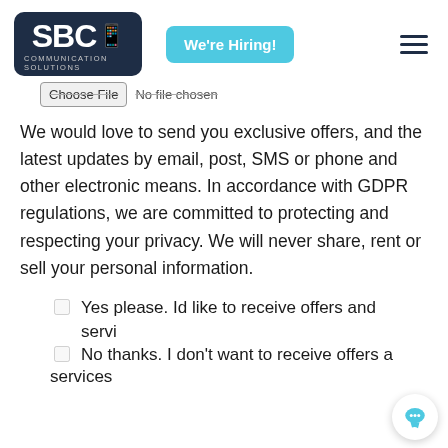[Figure (logo): SBC Communication Solutions logo — dark navy rounded rectangle with SBC text and phone icon, COMMUNICATION SOLUTIONS below]
[Figure (screenshot): We're Hiring! button in cyan/light blue]
Choose File  No file chosen
We would love to send you exclusive offers, and the latest updates by email, post, SMS or phone and other electronic means. In accordance with GDPR regulations, we are committed to protecting and respecting your privacy. We will never share, rent or sell your personal information.
Yes please. Id like to receive offers and services
No thanks. I don't want to receive offers and services
services